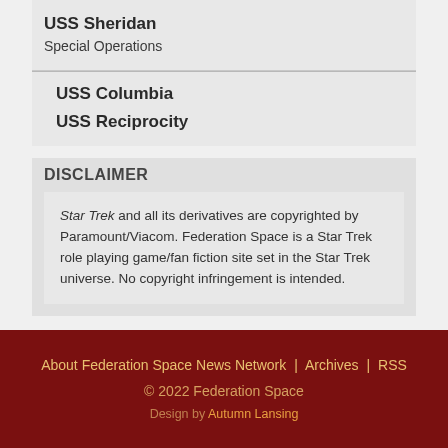USS Sheridan
Special Operations
USS Columbia
USS Reciprocity
DISCLAIMER
Star Trek and all its derivatives are copyrighted by Paramount/Viacom. Federation Space is a Star Trek role playing game/fan fiction site set in the Star Trek universe. No copyright infringement is intended.
About Federation Space News Network | Archives | RSS
© 2022 Federation Space
Design by Autumn Lansing